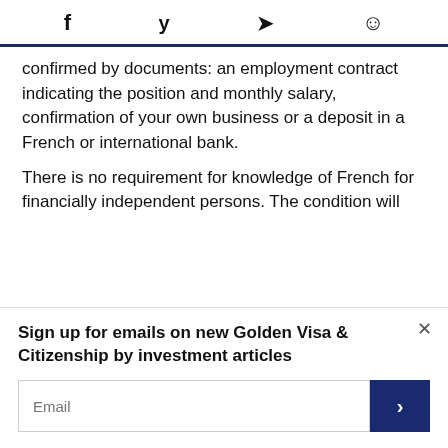f  [twitter]  [send]  [whatsapp]
confirmed by documents: an employment contract indicating the position and monthly salary, confirmation of your own business or a deposit in a French or international bank.
There is no requirement for knowledge of French for financially independent persons. The condition will arise if
Sign up for emails on new Golden Visa & Citizenship by investment articles